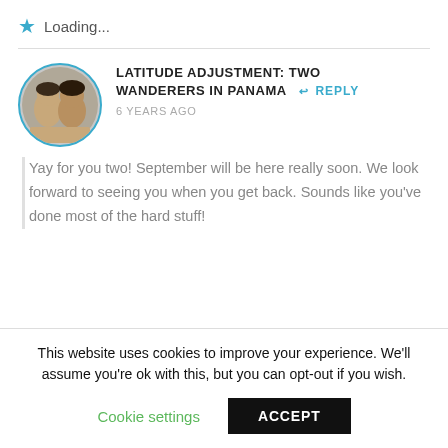★ Loading...
LATITUDE ADJUSTMENT: TWO WANDERERS IN PANAMA
REPLY
6 YEARS AGO
Yay for you two! September will be here really soon. We look forward to seeing you when you get back. Sounds like you've done most of the hard stuff!
This website uses cookies to improve your experience. We'll assume you're ok with this, but you can opt-out if you wish.
Cookie settings
ACCEPT